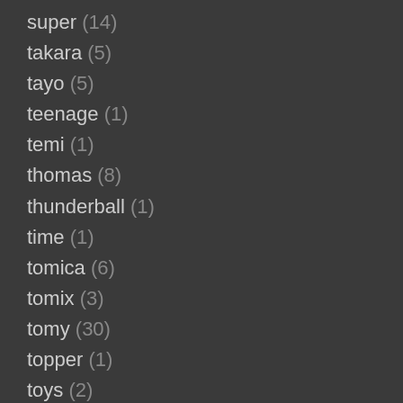super (14)
takara (5)
tayo (5)
teenage (1)
temi (1)
thomas (8)
thunderball (1)
time (1)
tomica (6)
tomix (3)
tomy (30)
topper (1)
toys (2)
track (15)
tracks (1)
train (2)
triang (3)
trix (1)